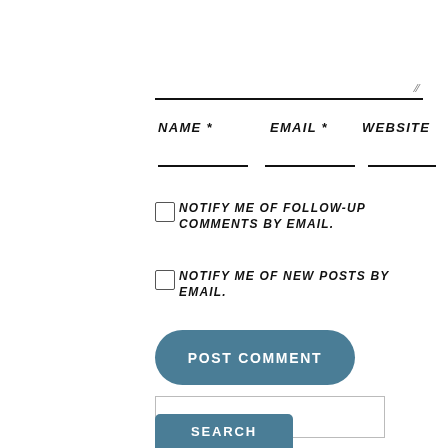[Figure (screenshot): Web form partial screenshot showing a comment/text area at top, then NAME*, EMAIL*, WEBSITE field labels with underline inputs, two checkbox options for email notifications, a POST COMMENT button, a search input box, and a SEARCH button at bottom.]
NAME *
EMAIL *
WEBSITE
NOTIFY ME OF FOLLOW-UP COMMENTS BY EMAIL.
NOTIFY ME OF NEW POSTS BY EMAIL.
POST COMMENT
SEARCH